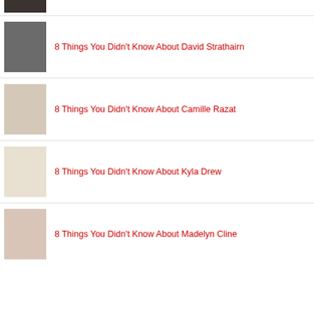[Figure (photo): Partial thumbnail of a person at the top of the page]
8 Things You Didn't Know About David Strathairn
8 Things You Didn't Know About Camille Razat
8 Things You Didn't Know About Kyla Drew
8 Things You Didn't Know About Madelyn Cline